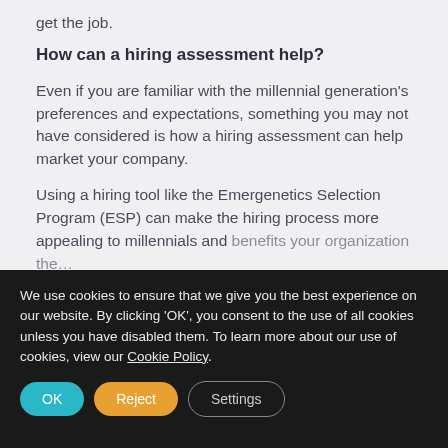get the job.
How can a hiring assessment help?
Even if you are familiar with the millennial generation's preferences and expectations, something you may not have considered is how a hiring assessment can help market your company.
Using a hiring tool like the Emergenetics Selection Program (ESP) can make the hiring process more appealing to millennials and benefits your organization the…
We use cookies to ensure that we give you the best experience on our website. By clicking 'OK', you consent to the use of all cookies unless you have disabled them. To learn more about our use of cookies, view our Cookie Policy.